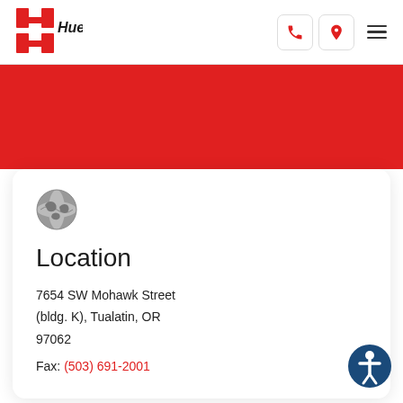[Figure (logo): Huebert logo with stylized H in red and black text]
7654 SW Mohawk Street (bldg. K), Tualatin, OR 97062 Fax: (503) 691-2001
Location